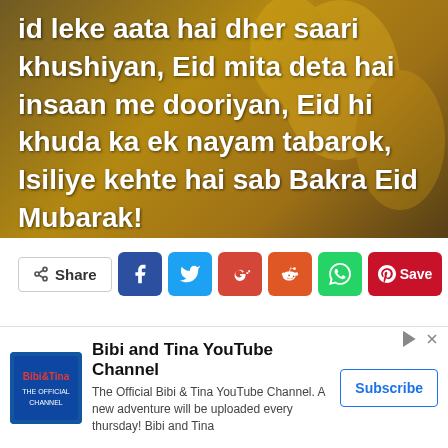[Figure (photo): Dark golden background image with bold white text overlaid reading a Hindi/Urdu phrase about Bakra Eid Mubarak]
id leke aata hai dher saari khushiyan, Eid mita deta hai insaan me dooriyan, Eid hi khuda ka ek nayam tabarok, Isiliye kehte hai sab Bakra Eid Mubarak!
Share | Facebook | Twitter | Google+ | Reddit | WhatsApp | Save (Pinterest) | Email
Bibi and Tina YouTube Channel
The Official Bibi & Tina YouTube Channel. A new adventure will be uploaded every thursday! Bibi and Tina
Subscribe